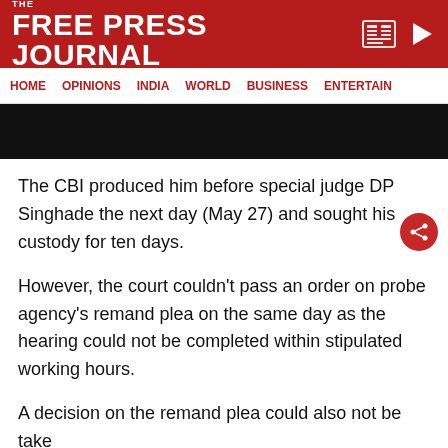THE FREE PRESS JOURNAL
HOME  OPINIONS  INDIA  WORLD  BUSINESS  ENTERTAIN
[Figure (photo): Black image banner/header photo area]
The CBI produced him before special judge DP Singhade the next day (May 27) and sought his custody for ten days.
However, the court couldn't pass an order on probe agency's remand plea on the same day as the hearing could not be completed within stipulated working hours.
A decision on the remand plea could also not be take

writt
ADVERTISEMENT